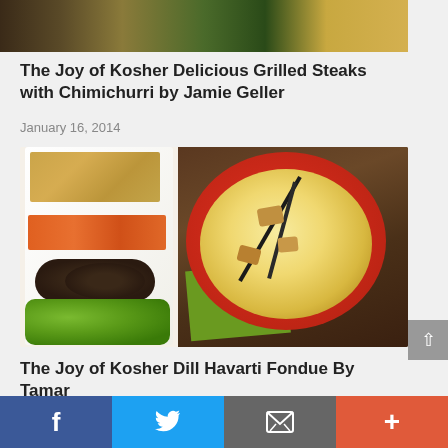[Figure (photo): Partial food photo at top of page showing grilled steaks with greens and garnish]
The Joy of Kosher Delicious Grilled Steaks with Chimichurri by Jamie Geller
January 16, 2014
[Figure (photo): Left side: platter with bread cubes, orange peppers, dark mushrooms, and broccoli. Right side: red fondue pot with creamy dip and bread pieces on fondue forks.]
The Joy of Kosher Dill Havarti Fondue By Tamar
Facebook  Twitter  Email  More